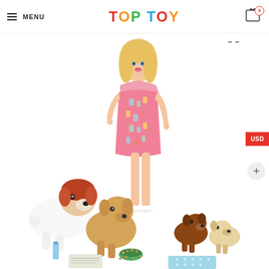MENU | TOP TOY | Cart: 0
[Figure (photo): Barbie doll in pink patterned dress with blonde hair, standing with four small dog/puppy figures around her feet. Accessories include a blue water bottle, a green food bowl with kibble, a blue polka-dot mat, and a small newspaper. The Barbie doll is the main figure, surrounded by two larger puppies (one white with brown/red head, one golden/tan) and two smaller puppies (one brown, one cream/white).]